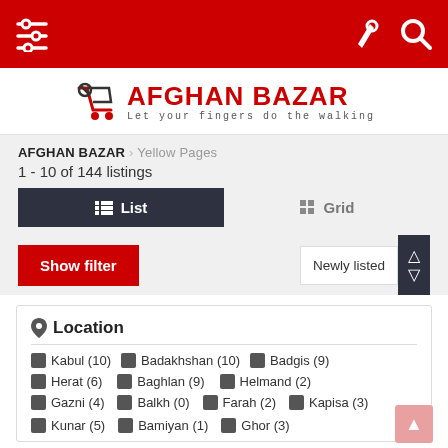Afghan Bazar - navigation bar with menu, pen, and search icons
[Figure (logo): Afghan Bazar logo with shopping cart icon and tagline 'Let your fingers do the walking']
AFGHAN BAZAR > Yellow Pages
1 - 10 of 144 listings
List | Grid view toggle
Show filter | Newly listed sort
Location
Kabul (10)
Badakhshan (10)
Badgis (9)
Herat (6)
Baghlan (9)
Helmand (2)
Gazni (4)
Balkh (0)
Farah (2)
Kapisa (3)
Kunar (5)
Bamiyan (1)
Ghor (3)